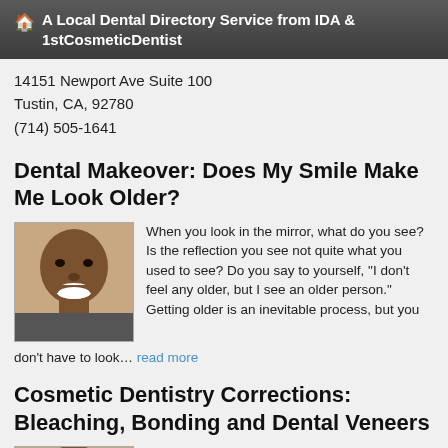A Local Dental Directory Service from IDA & 1stCosmeticDentist
14151 Newport Ave Suite 100
Tustin, CA, 92780
(714) 505-1641
Dental Makeover: Does My Smile Make Me Look Older?
[Figure (photo): Portrait of a smiling man showing teeth]
When you look in the mirror, what do you see? Is the reflection you see not quite what you used to see? Do you say to yourself, "I don't feel any older, but I see an older person." Getting older is an inevitable process, but you don't have to look… read more
Cosmetic Dentistry Corrections: Bleaching, Bonding and Dental Veneers
[Figure (photo): Portrait of a smiling man showing teeth]
Maybe you've thought about cosmetic dentistry, but felt it was a little vain to consider it. Or the appearance of your teeth